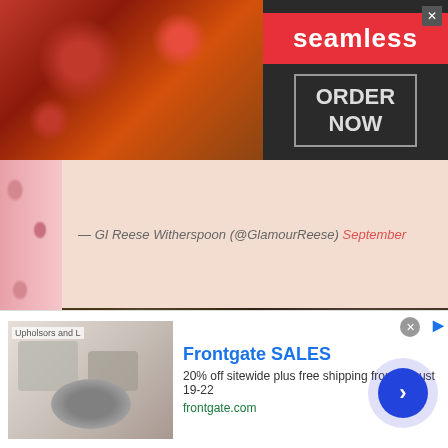[Figure (screenshot): Seamless food delivery banner ad with pizza image on left, Seamless logo in red center, and ORDER NOW button in outlined box on right with close X button]
— GI Reese Witherspoon (@GlamourReese) September
[Figure (screenshot): Video thumbnail showing Reese Witherspoon, Laura Dern & Nic (Kidman) with teal star circle logo overlay and title text]
[Figure (screenshot): Frontgate SALES advertisement with outdoor patio furniture photo, text '20% off sitewide plus free shipping from August 19-22', frontgate.com URL, and blue circular CTA arrow button]